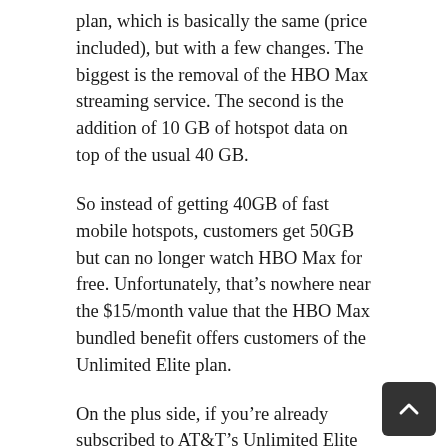plan, which is basically the same (price included), but with a few changes. The biggest is the removal of the HBO Max streaming service. The second is the addition of 10 GB of hotspot data on top of the usual 40 GB.
So instead of getting 40GB of fast mobile hotspots, customers get 50GB but can no longer watch HBO Max for free. Unfortunately, that's nowhere near the $15/month value that the HBO Max bundled benefit offers customers of the Unlimited Elite plan.
On the plus side, if you're already subscribed to AT&T's Unlimited Elite plan, you won't lose any of these benefits as long as you keep your subscription. However, new customers will now have to opt for the Unlimited Premium plan if they want AT&T's unlimited wireless plan.
However, it is interesting to note that AT&T's prepaid provider, Cricket Wireless, still offers the ad-supported tier of HBO Max as part of the subscription, but that may change sooner or later.